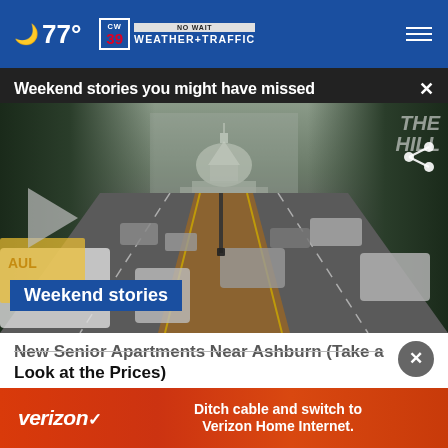77° CW39 NO WAIT WEATHER+TRAFFIC
Weekend stories you might have missed ×
[Figure (screenshot): Street view looking toward US Capitol building with city traffic, trees on both sides. Overlay shows play button and 'Weekend stories' label in blue. Share icon top right. 'THE HILL' watermark top right.]
New Senior Apartments Near Ashburn (Take a Look at the Prices)
Senio...
[Figure (advertisement): Verizon advertisement on red/orange gradient background. Left: verizon checkmark logo in white italic. Right: 'Ditch cable and switch to Verizon Home Internet.' in white bold text.]